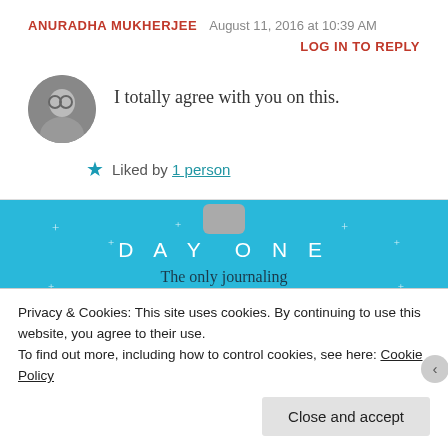ANURADHA MUKHERJEE   August 11, 2016 at 10:39 AM
LOG IN TO REPLY
I totally agree with you on this.
★ Liked by 1 person
[Figure (screenshot): Day One journaling app advertisement banner on light blue background with sparkle decorations, text DAY ONE, The only journaling app you'll ever need., and a Get the app button]
Privacy & Cookies: This site uses cookies. By continuing to use this website, you agree to their use.
To find out more, including how to control cookies, see here: Cookie Policy
Close and accept